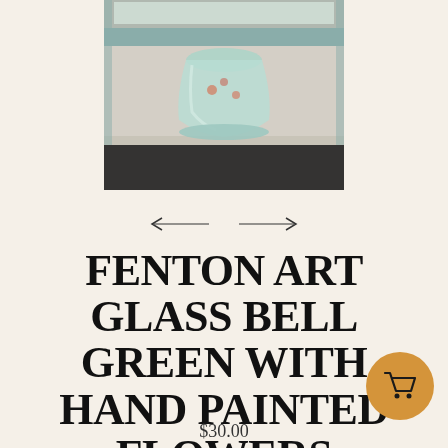[Figure (photo): A green Fenton art glass bell sitting on a windowsill, photographed from above at an angle. The bell is light green/aqua colored glass, placed near a window with a light gray/blue frame.]
FENTON ART GLASS BELL GREEN WITH HAND PAINTED FLOWERS
$30.00